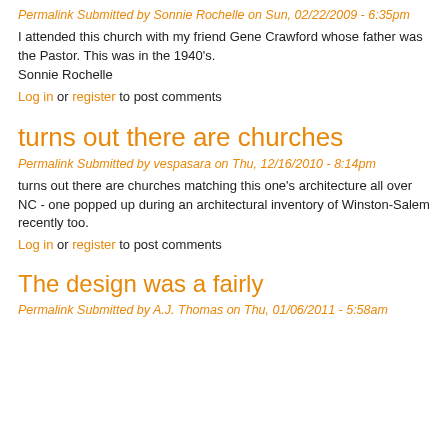Permalink Submitted by Sonnie Rochelle on Sun, 02/22/2009 - 6:35pm
I attended this church with my friend Gene Crawford whose father was the Pastor. This was in the 1940's.
Sonnie Rochelle
Log in or register to post comments
turns out there are churches
Permalink Submitted by vespasara on Thu, 12/16/2010 - 8:14pm
turns out there are churches matching this one's architecture all over NC - one popped up during an architectural inventory of Winston-Salem recently too.
Log in or register to post comments
The design was a fairly
Permalink Submitted by A.J. Thomas on Thu, 01/06/2011 - 5:58am